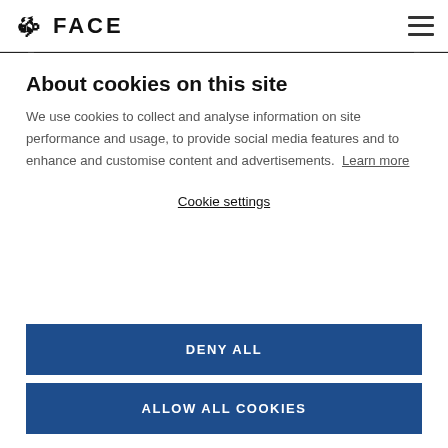FACE
[Figure (screenshot): Partial view of a laptop screen showing a gradient display]
About cookies on this site
We use cookies to collect and analyse information on site performance and usage, to provide social media features and to enhance and customise content and advertisements. Learn more
Cookie settings
DENY ALL
ALLOW ALL COOKIES